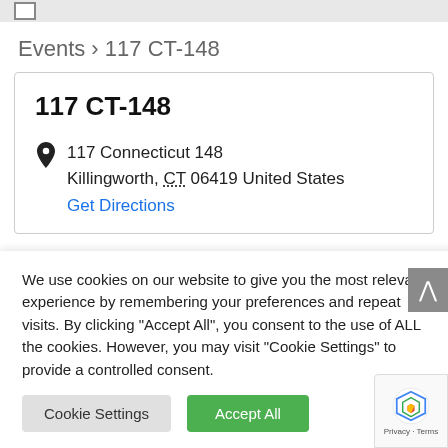Events › 117 CT-148
117 CT-148
117 Connecticut 148
Killingworth, CT 06419 United States
Get Directions
We use cookies on our website to give you the most relevant experience by remembering your preferences and repeat visits. By clicking "Accept All", you consent to the use of ALL the cookies. However, you may visit "Cookie Settings" to provide a controlled consent.